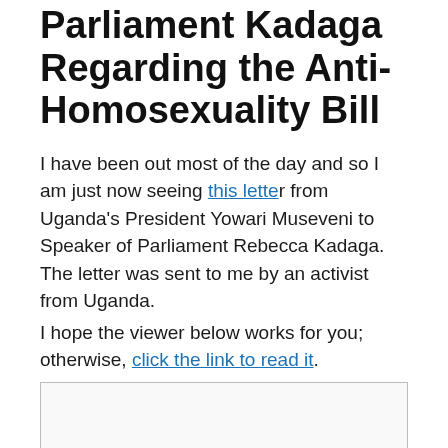Parliament Kadaga Regarding the Anti-Homosexuality Bill
I have been out most of the day and so I am just now seeing this letter from Uganda's President Yowari Museveni to Speaker of Parliament Rebecca Kadaga. The letter was sent to me by an activist from Uganda.
I hope the viewer below works for you; otherwise, click the link to read it.
[Figure (other): Embedded document viewer box (iframe/embed area) showing the letter content]